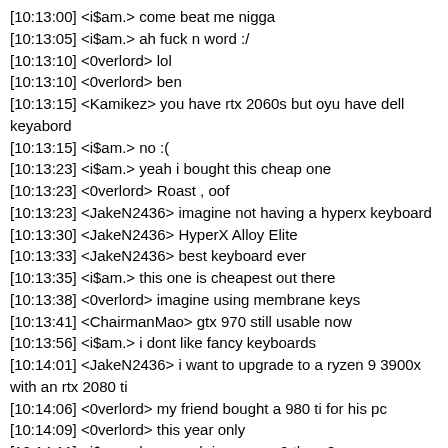[10:13:00] <i$am.> come beat me nigga
[10:13:05] <i$am.> ah fuck n word :/
[10:13:10] <0verlord> lol
[10:13:10] <0verlord> ben
[10:13:15] <Kamikez> you have rtx 2060s but oyu have dell keyabord
[10:13:15] <i$am.> no :(
[10:13:23] <i$am.> yeah i bought this cheap one
[10:13:23] <0verlord> Roast , oof
[10:13:23] <JakeN2436> imagine not having a hyperx keyboard
[10:13:30] <JakeN2436> HyperX Alloy Elite
[10:13:33] <JakeN2436> best keyboard ever
[10:13:35] <i$am.> this one is cheapest out there
[10:13:38] <0verlord> imagine using membrane keys
[10:13:41] <ChairmanMao> gtx 970 still usable now
[10:13:56] <i$am.> i dont like fancy keyboards
[10:14:01] <JakeN2436> i want to upgrade to a ryzen 9 3900x with an rtx 2080 ti
[10:14:06] <0verlord> my friend bought a 980 ti for his pc
[10:14:09] <0verlord> this year only
[10:14:11] <i$am.> how much is a ryzen 9 there?
[10:14:14] <JakeN2436> ◆400
[10:14:16] <Fubar> oh hi jake
[10:14:16] <JakeN2436> i think
[10:14:19] <JakeN2436> hi